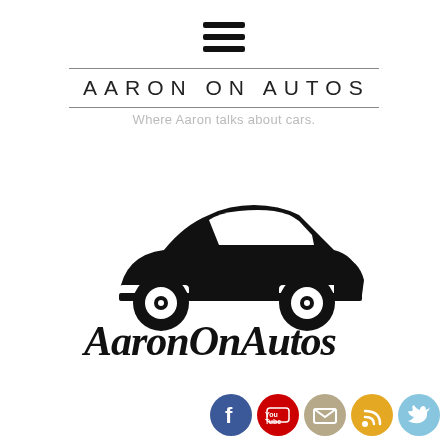[Figure (other): Hamburger menu icon (three horizontal lines)]
AARON ON AUTOS
Where Aaron talks about cars.
[Figure (logo): AaronOnAutos logo: silhouette of a VW Beetle-style car in black above bold italic text 'AaronOnAutos']
[Figure (other): Social media icons row: Facebook (blue circle with f), YouTube (red circle with You Tube), Email (tan circle with envelope), RSS (orange circle with wifi/rss symbol), Twitter (light blue circle with bird)]